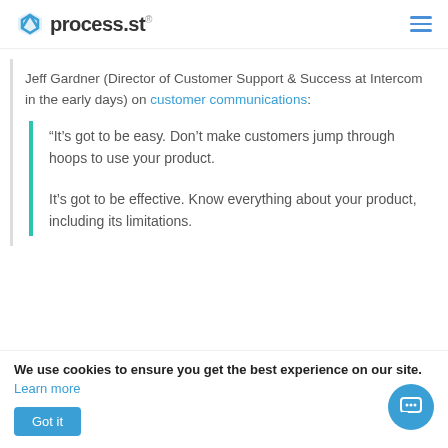process.st
Jeff Gardner (Director of Customer Support & Success at Intercom in the early days) on customer communications:
“It’s got to be easy. Don’t make customers jump through hoops to use your product.

It’s got to be effective. Know everything about your product, including its limitations.
We use cookies to ensure you get the best experience on our site. Learn more
Got it